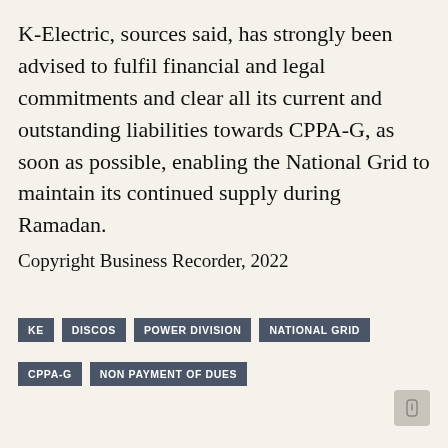K-Electric, sources said, has strongly been advised to fulfil financial and legal commitments and clear all its current and outstanding liabilities towards CPPA-G, as soon as possible, enabling the National Grid to maintain its continued supply during Ramadan.
Copyright Business Recorder, 2022
KE
DISCOS
POWER DIVISION
NATIONAL GRID
CPPA-G
NON PAYMENT OF DUES